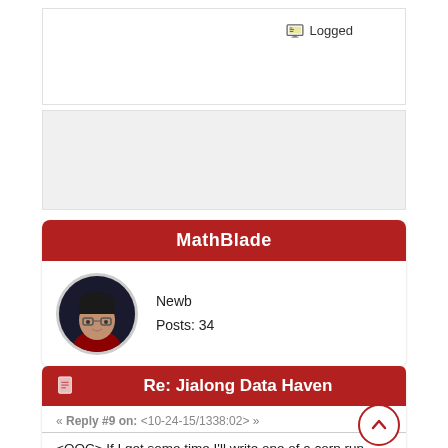Logged
[Figure (photo): Avatar of MathBlade: dark-haired woman with glasses, wearing red]
MathBlade
Newb
Posts: 34
Re: Jialong Data Haven
« Reply #9 on: <10-24-15/1338:02> »
<OOC> If I get some time I'll write one of a corp run where she stole a datachip from a corp and just walked